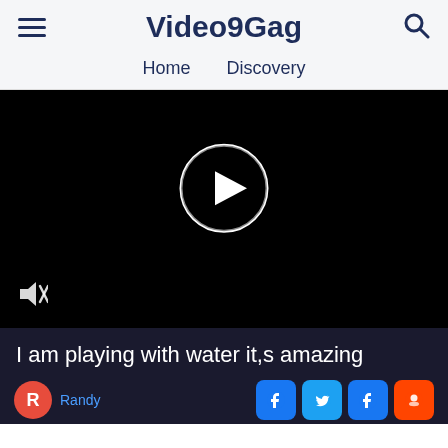Video9Gag — Home | Discovery
[Figure (screenshot): Black video player area with a circular play button in the center and a mute/unmute icon in the bottom-left corner]
I am playing with water it,s amazing
Randy (author name, partially visible)